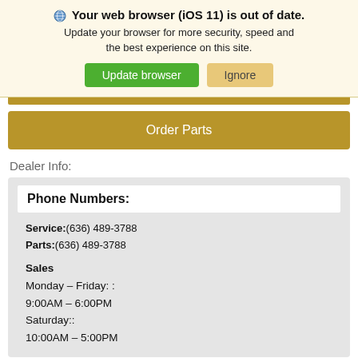Your web browser (iOS 11) is out of date. Update your browser for more security, speed and the best experience on this site. Update browser | Ignore
[Figure (screenshot): Partial gold navigation bar at top]
Order Parts
Dealer Info:
Phone Numbers:
Service:(636) 489-3788
Parts:(636) 489-3788
Sales
Monday – Friday: :
9:00AM – 6:00PM
Saturday::
10:00AM – 5:00PM